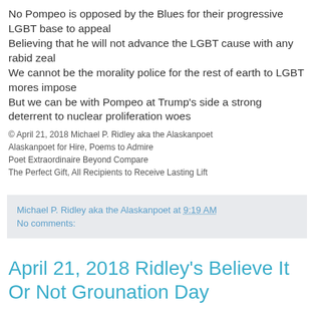No Pompeo is opposed by the Blues for their progressive LGBT base to appeal
Believing that he will not advance the LGBT cause with any rabid zeal
We cannot be the morality police for the rest of earth to LGBT mores impose
But we can be with Pompeo at Trump's side a strong deterrent to nuclear proliferation woes
© April 21, 2018 Michael P. Ridley aka the Alaskanpoet
Alaskanpoet for Hire, Poems to Admire
Poet Extraordinaire Beyond Compare
The Perfect Gift, All Recipients to Receive Lasting Lift
Michael P. Ridley aka the Alaskanpoet at 9:19 AM
No comments:
April 21, 2018 Ridley's Believe It Or Not Grounation Day